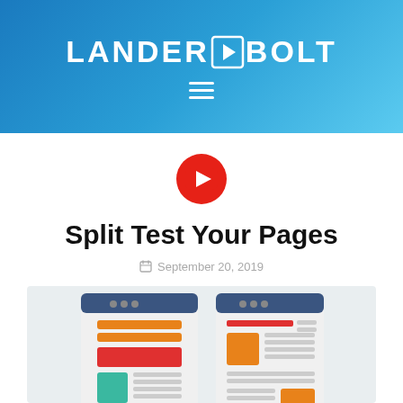LANDERBOLT
[Figure (logo): LanderBolt logo with lightning bolt icon in white on blue gradient header background, with hamburger menu icon below]
[Figure (illustration): Red YouTube play button circle icon]
Split Test Your Pages
September 20, 2019
[Figure (illustration): Featured image showing two mobile browser mockups side by side with colorful content blocks representing A/B split testing of landing pages - one with orange, red, teal layout and one with red, orange layout]